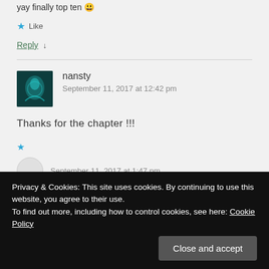yay finally top ten 😃
★ Like
Reply ↓
nansty
September 11, 2017 at 12:42 pm
Thanks for the chapter !!!
September 11, 2017 at 1:47 pm
Privacy & Cookies: This site uses cookies. By continuing to use this website, you agree to their use.
To find out more, including how to control cookies, see here: Cookie Policy